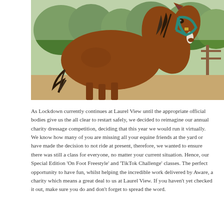[Figure (photo): A bay horse with a teal/green halter photographed from behind and turning its head to look at the camera. The horse is in a sandy arena with green trees visible in the background.]
As Lockdown currently continues at Laurel View until the appropriate official bodies give us the all clear to restart safely, we decided to reimagine our annual charity dressage competition, deciding that this year we would run it virtually. We know how many of you are missing all your equine friends at the yard or have made the decision to not ride at present, therefore, we wanted to ensure there was still a class for everyone, no matter your current situation. Hence, our Special Edition 'On Foot Freestyle' and 'TikTok Challenge' classes. The perfect opportunity to have fun, whilst helping the incredible work delivered by Aware, a charity which means a great deal to us at Laurel View. If you haven't yet checked it out, make sure you do and don't forget to spread the word.